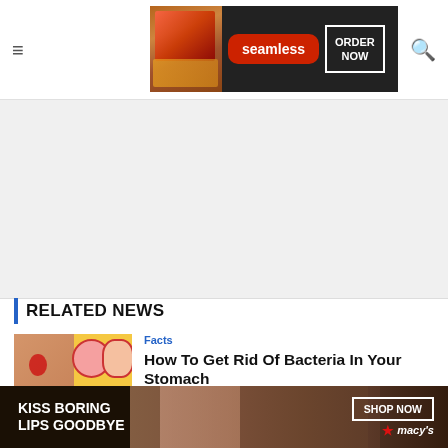≡ [Seamless ad: ORDER NOW] 🔍
[Figure (screenshot): Seamless food delivery advertisement banner with pizza image, red seamless badge, and ORDER NOW button in white box on dark background]
[Figure (screenshot): White/light gray blank advertisement space]
RELATED NEWS
[Figure (photo): Thumbnail image showing stomach bacteria diagram with text: How to Get Rid of the Bacteria that Cause Heartburn, Ulcer and Stomach Bloating]
Facts
How To Get Rid Of Bacteria In Your Stomach
Kevin S · October 5, 2021
Editor Picks
[Figure (screenshot): Macy's advertisement: KISS BORING LIPS GOODBYE with SHOP NOW button and Macy's star logo, woman with red lips]
CLOSE